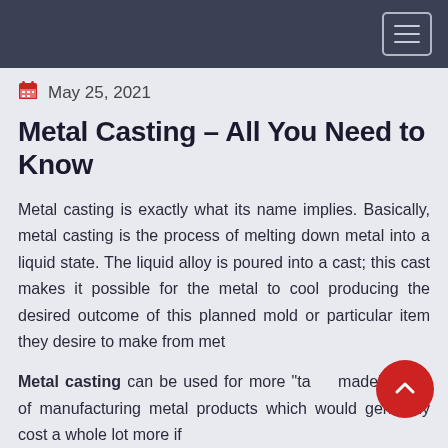Navigation bar with hamburger menu
May 25, 2021
Metal Casting – All You Need to Know
Metal casting is exactly what its name implies. Basically, metal casting is the process of melting down metal into a liquid state. The liquid alloy is poured into a cast; this cast makes it possible for the metal to cool producing the desired outcome of this planned mold or particular item they desire to make from metal.
Metal casting can be used for more "tailor made" areas of manufacturing metal products which would generally cost a whole lot more if